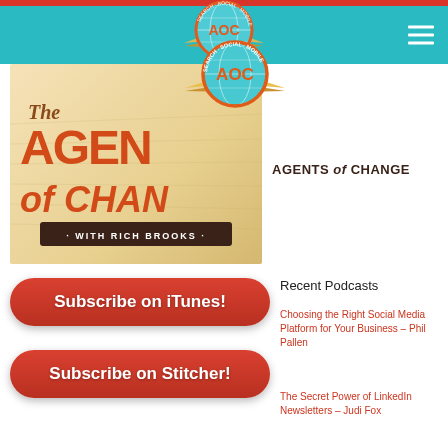AOC Agents of Change – navigation bar with hamburger menu
[Figure (logo): The Agents of Change podcast logo with Rich Brooks, vintage style orange and teal illustration with wings and globe]
[Figure (logo): AOC Agents of Change circular logo with Search Social Mobile text and wings, teal and orange]
AGENTS of CHANGE
Subscribe on iTunes!
Subscribe on Stitcher!
Recent Podcasts
Choosing the Right Social Media Platform for Your Business – Phil Pallen
The Secret Power of LinkedIn Newsletters – Judi Fox